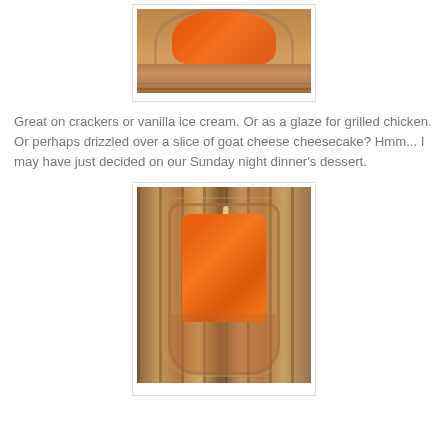[Figure (photo): Top-down view of an orange jam or preserve in a glass jar on a wood cutting board, partially cropped at top]
Great on crackers or vanilla ice cream.  Or as a glaze for grilled chicken.  Or perhaps drizzled over a slice of goat cheese cheesecake?  Hmm... I may have just decided on our Sunday night dinner's dessert.
[Figure (photo): Top-down view of a mason jar filled with orange jam/preserve with a wooden stick or thermometer inserted, placed on a striped wood cutting board]